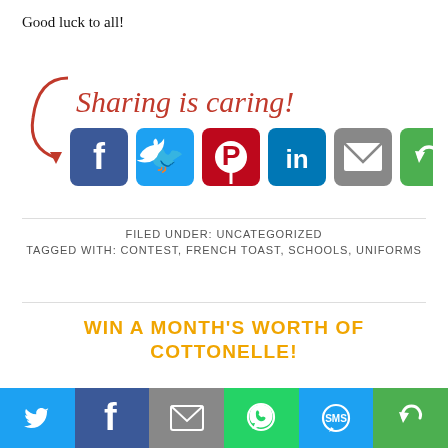Good luck to all!
[Figure (infographic): Sharing is caring! banner with social media share buttons: Facebook, Twitter, Pinterest, LinkedIn, Email, Share]
FILED UNDER: UNCATEGORIZED
TAGGED WITH: CONTEST, FRENCH TOAST, SCHOOLS, UNIFORMS
WIN A MONTH'S WORTH OF COTTONELLE!
JAN 14, 2010
[Figure (infographic): Bottom social sharing bar with Twitter, Facebook, Email, WhatsApp, SMS, and Share buttons]